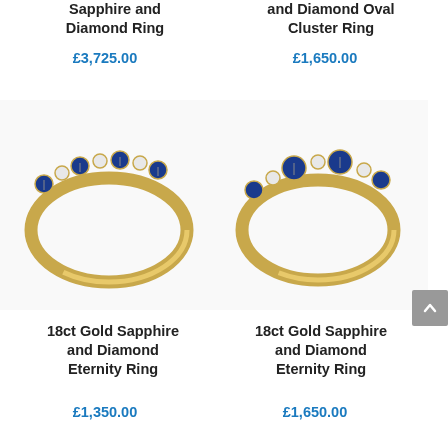Sapphire and Diamond Ring
£3,725.00
and Diamond Oval Cluster Ring
£1,650.00
[Figure (photo): 18ct Gold Sapphire and Diamond Eternity Ring - left product photo showing gold band with alternating sapphire and diamond stones]
[Figure (photo): 18ct Gold Sapphire and Diamond Eternity Ring - right product photo showing gold band with alternating sapphire and diamond stones]
18ct Gold Sapphire and Diamond Eternity Ring
£1,350.00
18ct Gold Sapphire and Diamond Eternity Ring
£1,650.00